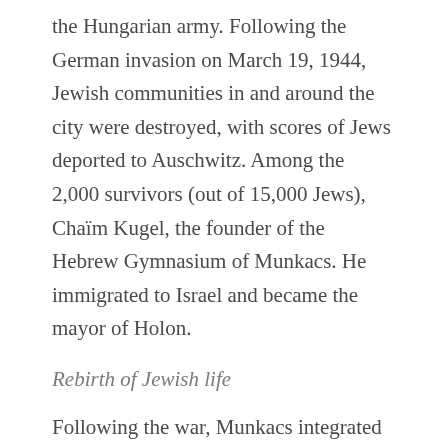the Hungarian army. Following the German invasion on March 19, 1944, Jewish communities in and around the city were destroyed, with scores of Jews deported to Auschwitz. Among the 2,000 survivors (out of 15,000 Jews), Chaïm Kugel, the founder of the Hebrew Gymnasium of Munkacs. He immigrated to Israel and became the mayor of Holon.
Rebirth of Jewish life
Following the war, Munkacs integrated Ukraine and was renamed Mukachevo. In